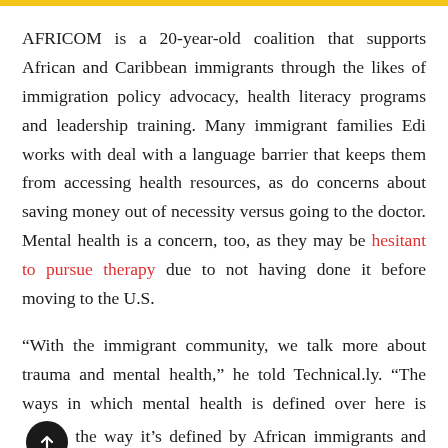AFRICOM is a 20-year-old coalition that supports African and Caribbean immigrants through the likes of immigration policy advocacy, health literacy programs and leadership training. Many immigrant families Edi works with deal with a language barrier that keeps them from accessing health resources, as do concerns about saving money out of necessity versus going to the doctor. Mental health is a concern, too, as they may be hesitant to pursue therapy due to not having done it before moving to the U.S.
“With the immigrant community, we talk more about trauma and mental health,” he told Technical.ly. “The ways in which mental health is defined over here is the way it’s defined by African immigrants and they’re...